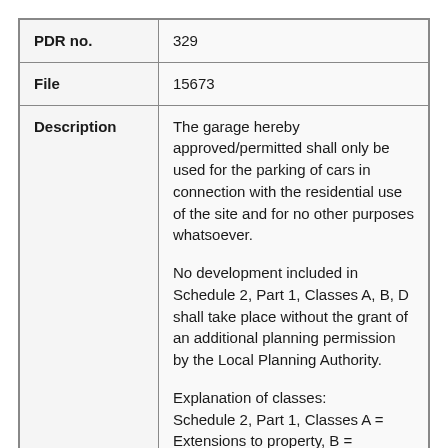| Field | Value |
| --- | --- |
| PDR no. | 329 |
| File | 15673 |
| Description | The garage hereby approved/permitted shall only be used for the parking of cars in connection with the residential use of the site and for no other purposes whatsoever.

No development included in Schedule 2, Part 1, Classes A, B, D shall take place without the grant of an additional planning permission by the Local Planning Authority.

Explanation of classes:
Schedule 2, Part 1, Classes A = Extensions to property, B = Changes to roof, C = Other alterations to the roof of dwelling, D = Porches, E = Sheds etc, F ... |